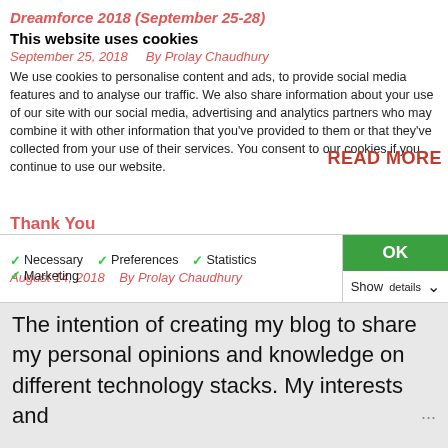Dreamforce 2018 (September 25-28)
This website uses cookies
September 25, 2018    By Prolay Chaudhury
We use cookies to personalise content and ads, to provide social media features and to analyse our traffic. We also share information about your use of our site with our social media, advertising and analytics partners who may combine it with other information that you've provided to them or that they've collected from your use of their services. You consent to our cookies if you continue to use our website.
READ MORE
Thank You
August 14, 2018    By Prolay Chaudhury
OK
Necessary
Preferences
Statistics
Marketing
Show details
The intention of creating my blog to share my personal opinions and knowledge on different technology stacks. My interests and ...
READ MORE
Salesforce Winter 19 feature
September 17, 2018    By Prolay Chaudhury